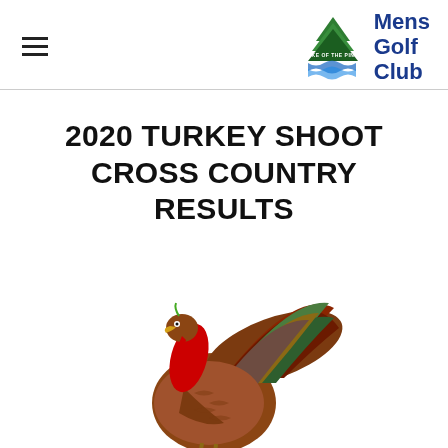Mens Golf Club
2020 TURKEY SHOOT CROSS COUNTRY RESULTS
[Figure (illustration): Illustrated image of a wild turkey with colorful feathers displayed, facing left, in a vintage natural history illustration style.]